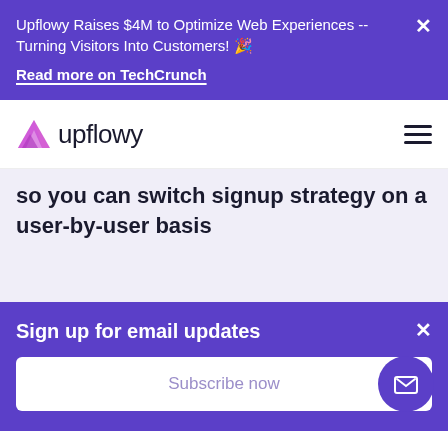Upflowy Raises $4M to Optimize Web Experiences -- Turning Visitors Into Customers! 🎉
Read more on TechCrunch
[Figure (logo): Upflowy logo with purple triangle and wordmark]
so you can switch signup strategy on a user-by-user basis
Sign up for email updates
Subscribe now